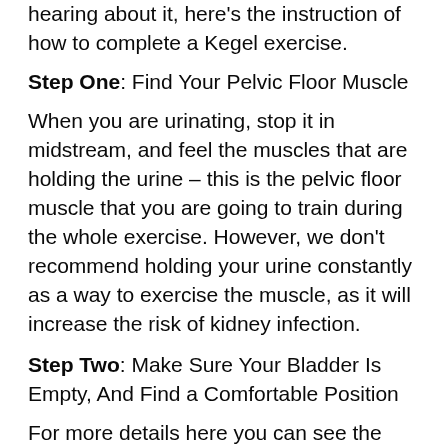hearing about it, here's the instruction of how to complete a Kegel exercise.
Step One: Find Your Pelvic Floor Muscle
When you are urinating, stop it in midstream, and feel the muscles that are holding the urine – this is the pelvic floor muscle that you are going to train during the whole exercise. However, we don't recommend holding your urine constantly as a way to exercise the muscle, as it will increase the risk of kidney infection.
Step Two: Make Sure Your Bladder Is Empty, And Find a Comfortable Position
For more details here you can see the best